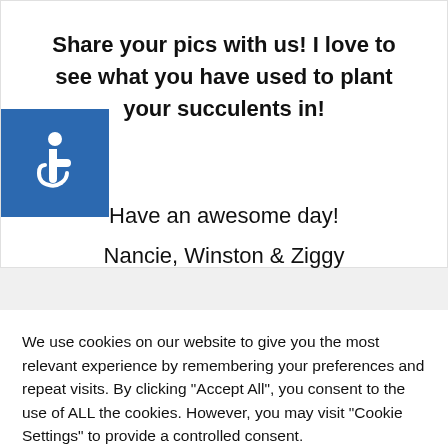Share your pics with us! I love to see what you have used to plant your succulents in!
[Figure (illustration): Blue square accessibility icon with white wheelchair symbol]
Have an awesome day!
Nancie, Winston & Ziggy
We use cookies on our website to give you the most relevant experience by remembering your preferences and repeat visits. By clicking "Accept All", you consent to the use of ALL the cookies. However, you may visit "Cookie Settings" to provide a controlled consent.
Cookie Settings | Accept All